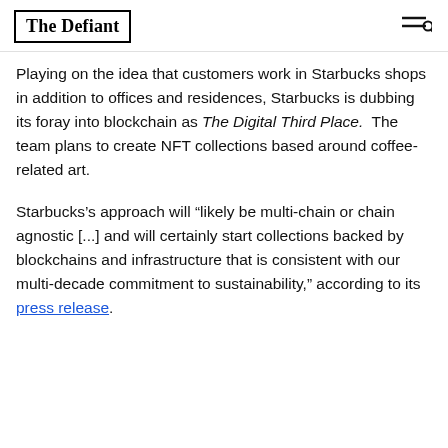The Defiant
Playing on the idea that customers work in Starbucks shops in addition to offices and residences, Starbucks is dubbing its foray into blockchain as The Digital Third Place. The team plans to create NFT collections based around coffee-related art.
Starbucks’s approach will “likely be multi-chain or chain agnostic [...] and will certainly start collections backed by blockchains and infrastructure that is consistent with our multi-decade commitment to sustainability,” according to its press release.